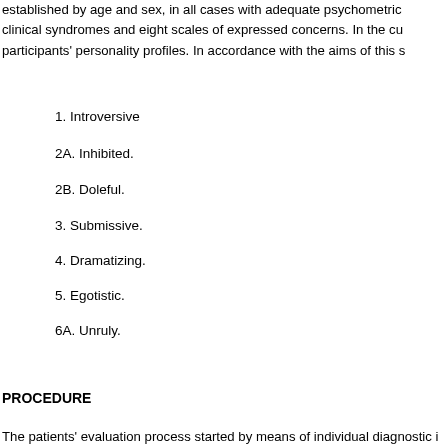established by age and sex, in all cases with adequate psychometric clinical syndromes and eight scales of expressed concerns. In the cu participants' personality profiles. In accordance with the aims of this s
1. Introversive
2A. Inhibited.
2B. Doleful.
3. Submissive.
4. Dramatizing.
5. Egotistic.
6A. Unruly.
6B. Forceful.
7. Conforming.
8A. Oppositional.
8B. Self-demeaning.
9. Borderline tendency.
PROCEDURE
The patients' evaluation process started by means of individual diagnostic i